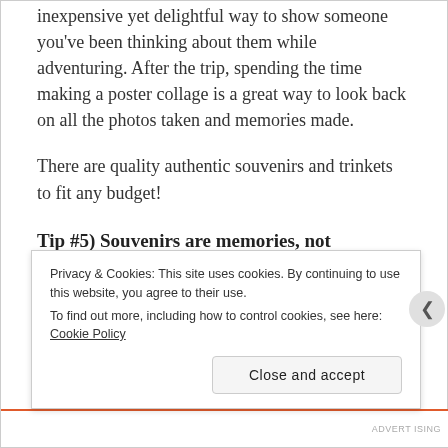inexpensive yet delightful way to show someone you've been thinking about them while adventuring. After the trip, spending the time making a poster collage is a great way to look back on all the photos taken and memories made.
There are quality authentic souvenirs and trinkets to fit any budget!
Tip #5) Souvenirs are memories, not scavenger hunts:
The most important thing to keep in mind is that
Privacy & Cookies: This site uses cookies. By continuing to use this website, you agree to their use.
To find out more, including how to control cookies, see here: Cookie Policy
Close and accept